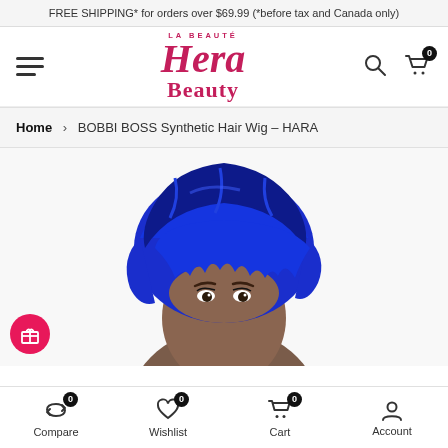FREE SHIPPING* for orders over $69.99 (*before tax and Canada only)
[Figure (logo): La Beauté Hera Beauty logo in pink/crimson serif italic font]
Home > BOBBI BOSS Synthetic Hair Wig – HARA
[Figure (photo): Product photo: person wearing a short blue synthetic hair wig (BOBBI BOSS HARA)]
Compare 0  Wishlist 0  Cart 0  Account